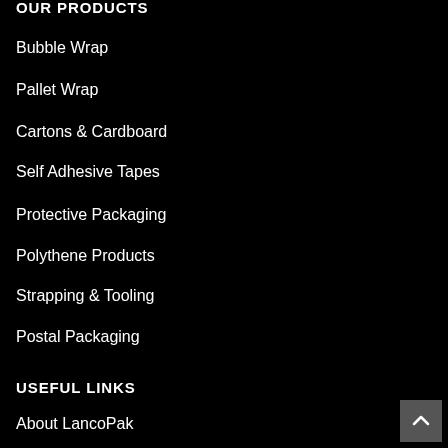OUR PRODUCTS
Bubble Wrap
Pallet Wrap
Cartons & Cardboard
Self Adhesive Tapes
Protective Packaging
Polythene Products
Strapping & Tooling
Postal Packaging
USEFUL LINKS
About LancoPak